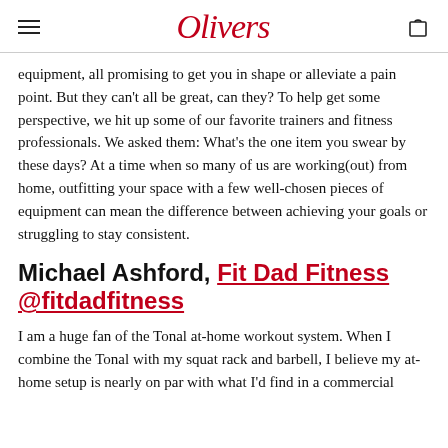Olivers
equipment, all promising to get you in shape or alleviate a pain point. But they can't all be great, can they? To help get some perspective, we hit up some of our favorite trainers and fitness professionals. We asked them: What's the one item you swear by these days? At a time when so many of us are working(out) from home, outfitting your space with a few well-chosen pieces of equipment can mean the difference between achieving your goals or struggling to stay consistent.
Michael Ashford, Fit Dad Fitness @fitdadfitness
I am a huge fan of the Tonal at-home workout system. When I combine the Tonal with my squat rack and barbell, I believe my at-home setup is nearly on par with what I'd find in a commercial